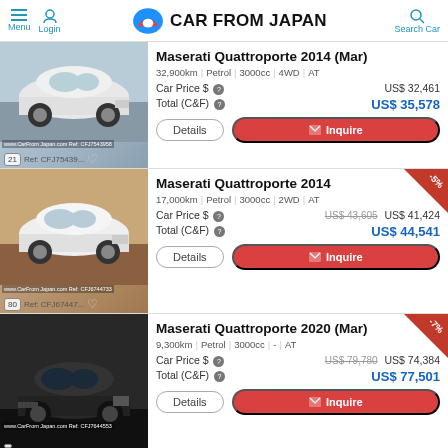Menu | Login | CAR FROM JAPAN | Search Car
Maserati Quattroporte 2014 (Mar)
32,900km | Petrol | 3000cc | 4WD | AT
Car Price $ US$ 32,461
Total (C&F) US$ 35,578
Maserati Quattroporte 2014
17,000km | Petrol | 3000cc | 2WD | AT
Car Price $ US$ 43,605 US$ 41,424
Total (C&F) US$ 44,541
Maserati Quattroporte 2020 (Mar)
9,300km | Petrol | 3000cc | - | AT
Car Price $ US$ 79,780 US$ 74,384
Total (C&F) US$ 77,501